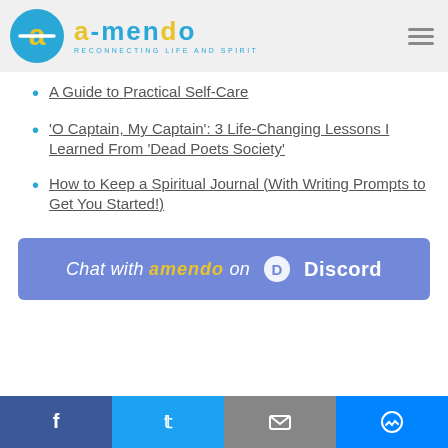[Figure (logo): Amendo logo with circular icon and text 'amendo - reconnecting life and spirit']
A Guide to Practical Self-Care
‘O Captain, My Captain’: 3 Life-Changing Lessons I Learned From ‘Dead Poets Society’
How to Keep a Spiritual Journal (With Writing Prompts to Get You Started!)
[Figure (infographic): Chat with amendo on Discord banner in purple/indigo color]
[Figure (infographic): Social media footer bar with Facebook, Twitter, Email, and Messenger buttons]